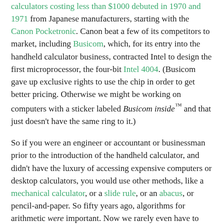calculators costing less than $1000 debuted in 1970 and 1971 from Japanese manufacturers, starting with the Canon Pocketronic. Canon beat a few of its competitors to market, including Busicom, which, for its entry into the handheld calculator business, contracted Intel to design the first microprocessor, the four-bit Intel 4004. (Busicom gave up exclusive rights to use the chip in order to get better pricing. Otherwise we might be working on computers with a sticker labeled Busicom inside™ and that just doesn't have the same ring to it.)
So if you were an engineer or accountant or businessman prior to the introduction of the handheld calculator, and didn't have the luxury of accessing expensive computers or desktop calculators, you would use other methods, like a mechanical calculator, or a slide rule, or an abacus, or pencil-and-paper. So fifty years ago, algorithms for arithmetic were important. Now we rarely even have to write software to multiply numbers; today's processors have hardware logic in their ALU to multiply floating-point